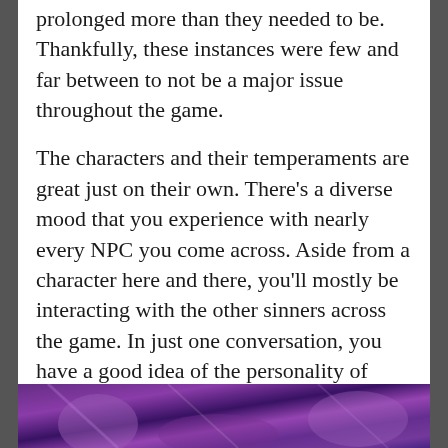prolonged more than they needed to be. Thankfully, these instances were few and far between to not be a major issue throughout the game.
The characters and their temperaments are great just on their own. There's a diverse mood that you experience with nearly every NPC you come across. Aside from a character here and there, you'll mostly be interacting with the other sinners across the game. In just one conversation, you have a good idea of the personality of each person you interact with. For example, Violet, another sinner, is an energetic and enthusiastic girl and someone who you could even describe as a bit unhinged.
[Figure (photo): Bottom strip showing a colorful purple/violet game scene or artwork, partially visible.]